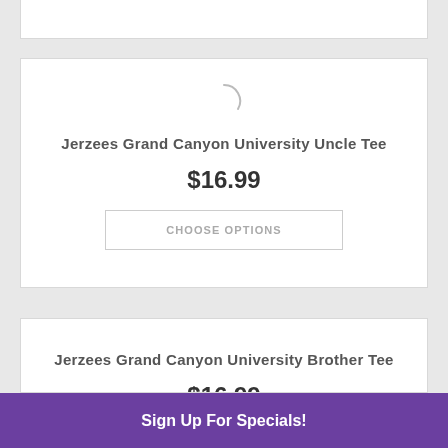[Figure (other): Partial product card at top of page (cut off)]
Jerzees Grand Canyon University Uncle Tee
$16.99
CHOOSE OPTIONS
Jerzees Grand Canyon University Brother Tee
$16.99
Sign Up For Specials!